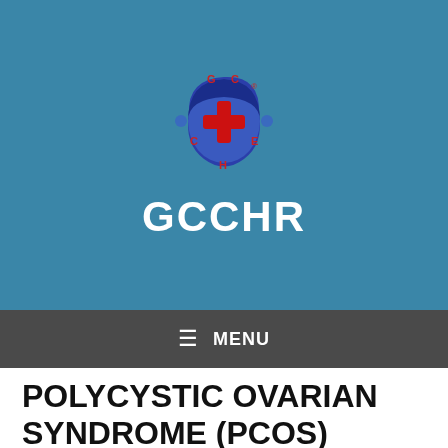[Figure (logo): GCCHR circular logo with a red cross in the center, surrounded by letters G, C, C, H, R, E on a blue circular background]
GCCHR
≡ MENU
POLYCYSTIC OVARIAN SYNDROME (PCOS)
Posted on April 29, 2016 by GCCHR